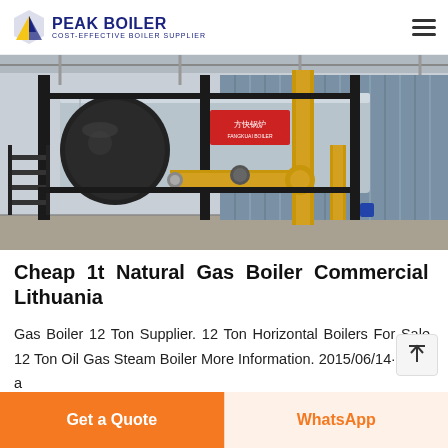PEAK BOILER — COST-EFFECTIVE BOILER SUPPLIER
[Figure (photo): Industrial natural gas steam boiler in a factory setting. A large horizontal cylindrical boiler with black and silver metal casing, yellow gas pipes, black steel frame and stairs, corrugated metal wall in background.]
Cheap 1t Natural Gas Boiler Commercial Lithuania
Gas Boiler 12 Ton Supplier. 12 Ton Horizontal Boilers For Sale. 12 Ton Oil Gas Steam Boiler More Information. 2015/06/14· ZG is a